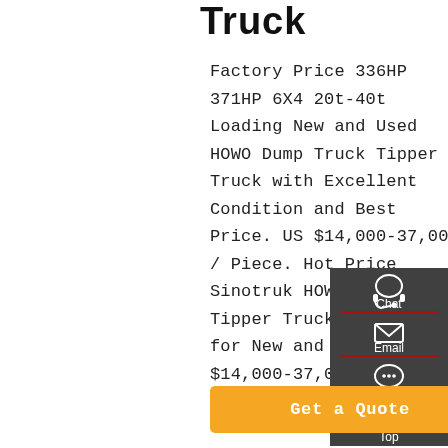Truck
Factory Price 336HP 371HP 6X4 20t-40t Loading New and Used HOWO Dump Truck Tipper Truck with Excellent Condition and Best Price. US $14,000-37,000 / Piece. Hot Price Sinotruk HOWO 336 HP Tipper Truck/ Dump Truck for New and Used. US $14,000-37,000 / Piece.
[Figure (infographic): Sidebar with Chat, Email, Contact, and Top navigation icons on dark gray background]
Get a Quote